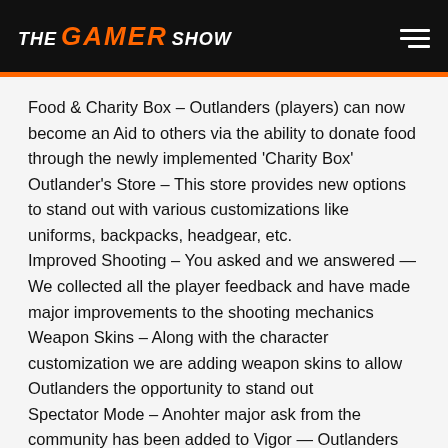THE GAMER SHOW
Food & Charity Box – Outlanders (players) can now become an Aid to others via the ability to donate food through the newly implemented 'Charity Box' Outlander's Store – This store provides new options to stand out with various customizations like uniforms, backpacks, headgear, etc. Improved Shooting – You asked and we answered — We collected all the player feedback and have made major improvements to the shooting mechanics Weapon Skins – Along with the character customization we are adding weapon skins to allow Outlanders the opportunity to stand out Spectator Mode – Anohter major ask from the community has been added to Vigor — Outlanders can now spectate their killer and learn about (and